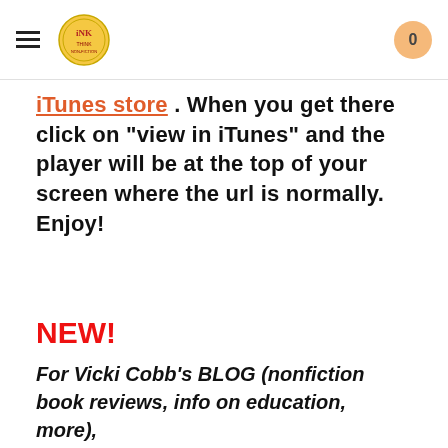INK logo navigation header with cart (0)
iTunes store. When you get there click on "view in iTunes" and the player will be at the top of your screen where the url is normally. Enjoy!
NEW!
For Vicki Cobb's BLOG (nonfiction book reviews, info on education, more),